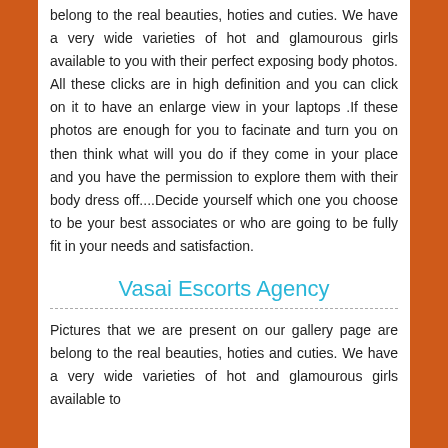belong to the real beauties, hoties and cuties. We have a very wide varieties of hot and glamourous girls available to you with their perfect exposing body photos. All these clicks are in high definition and you can click on it to have an enlarge view in your laptops .If these photos are enough for you to facinate and turn you on then think what will you do if they come in your place and you have the permission to explore them with their body dress off....Decide yourself which one you choose to be your best associates or who are going to be fully fit in your needs and satisfaction.
Vasai Escorts Agency
Pictures that we are present on our gallery page are belong to the real beauties, hoties and cuties. We have a very wide varieties of hot and glamourous girls available to